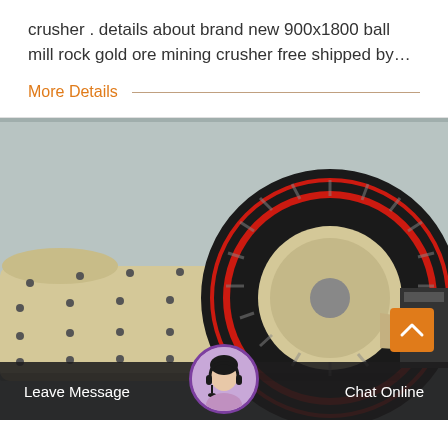crusher . details about brand new 900x1800 ball mill rock gold ore mining crusher free shipped by…
More Details
[Figure (photo): Industrial ball mill machine with large gear wheel in red and black, cylindrical drum in beige/cream color with bolt patterns, photographed in a factory/warehouse setting.]
Leave Message
Chat Online